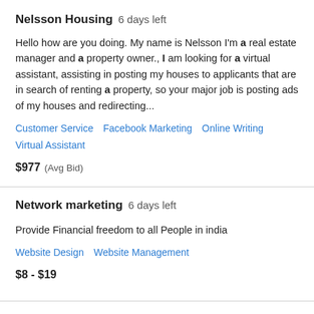Nelsson Housing  6 days left
Hello how are you doing. My name is Nelsson I'm a real estate manager and a property owner., I am looking for a virtual assistant, assisting in posting my houses to applicants that are in search of renting a property, so your major job is posting ads of my houses and redirecting...
Customer Service   Facebook Marketing   Online Writing   Virtual Assistant
$977  (Avg Bid)
Network marketing  6 days left
Provide Financial freedom to all People in india
Website Design   Website Management
$8 - $19